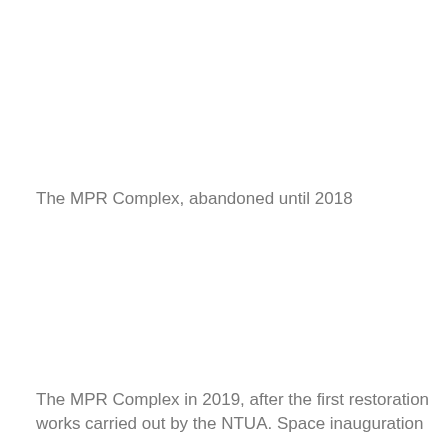The MPR Complex, abandoned until 2018
The MPR Complex in 2019, after the first restoration works carried out by the NTUA. Space inauguration